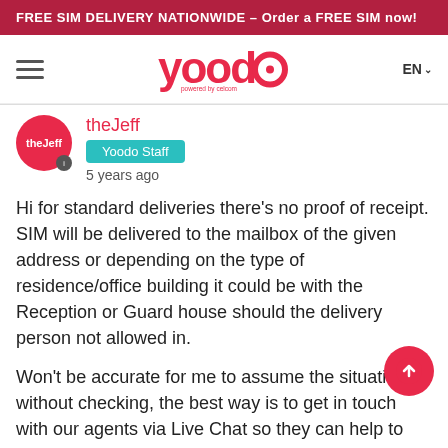FREE SIM DELIVERY NATIONWIDE – Order a FREE SIM now!
[Figure (logo): Yoodo logo with 'powered by celcom' tagline, hamburger menu icon on left, EN language selector on right]
theJeff
Yoodo Staff
5 years ago
Hi for standard deliveries there's no proof of receipt. SIM will be delivered to the mailbox of the given address or depending on the type of residence/office building it could be with the Reception or Guard house should the delivery person not allowed in.
Won't be accurate for me to assume the situation without checking, the best way is to get in touch with our agents via Live Chat so they can help to troubleshoot it further asap as well. Thanks.